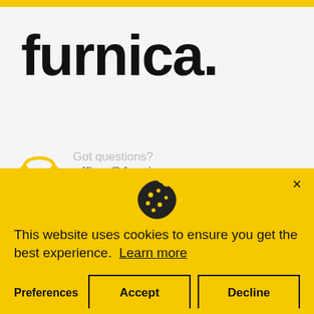[Figure (logo): furnica. brand logo in bold black text]
[Figure (illustration): Yellow headphone customer support icon with text 'Got questions?' and 'office@furnica.com']
Got questions?
office@furnica.com
[Figure (illustration): Cookie consent modal overlay with yellow background, cookie icon, message, and three buttons: Preferences, Accept, Decline]
This website uses cookies to ensure you get the best experience.  Learn more
Preferences
Accept
Decline